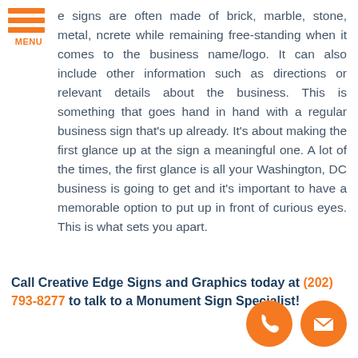[Figure (logo): Orange hamburger menu icon with three horizontal bars and the word MENU below in orange text]
e signs are often made of brick, marble, stone, metal, ncrete while remaining free-standing when it comes to the business name/logo. It can also include other information such as directions or relevant details about the business. This is something that goes hand in hand with a regular business sign that's up already. It's about making the first glance up at the sign a meaningful one. A lot of the times, the first glance is all your Washington, DC business is going to get and it's important to have a memorable option to put up in front of curious eyes. This is what sets you apart.
Call Creative Edge Signs and Graphics today at (202) 793-8277 to talk to a Monument Sign Specialist!
[Figure (illustration): Two orange circular icons: a phone handset icon and an envelope/mail icon]